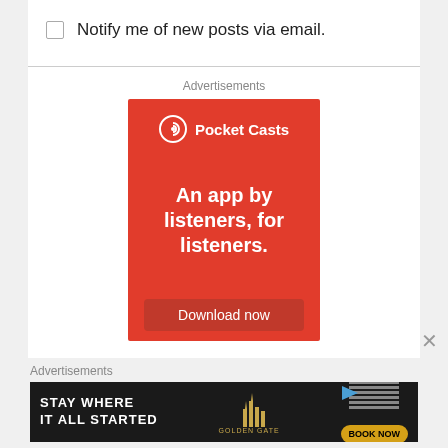Notify me of new posts via email.
Advertisements
[Figure (illustration): Pocket Casts app advertisement on red background. Shows Pocket Casts logo at top, large white text reading 'An app by listeners, for listeners.' and a 'Download now' button at the bottom.]
Advertisements
[Figure (illustration): Golden Gate hotel advertisement on black background. Text reads 'STAY WHERE IT ALL STARTED' with a golden gate logo and 'BOOK NOW' button.]